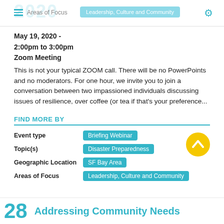2020 | Areas of Focus | Leadership, Culture and Community
May 19, 2020 -
2:00pm to 3:00pm
Zoom Meeting
This is not your typical ZOOM call. There will be no PowerPoints and no moderators. For one hour, we invite you to join a conversation between two impassioned individuals discussing issues of resilience, over coffee (or tea if that's your preference...
FIND MORE BY
|  |  |
| --- | --- |
| Event type | Briefing Webinar |
| Topic(s) | Disaster Preparedness |
| Geographic Location | SF Bay Area |
| Areas of Focus | Leadership, Culture and Community |
28 Addressing Community Needs